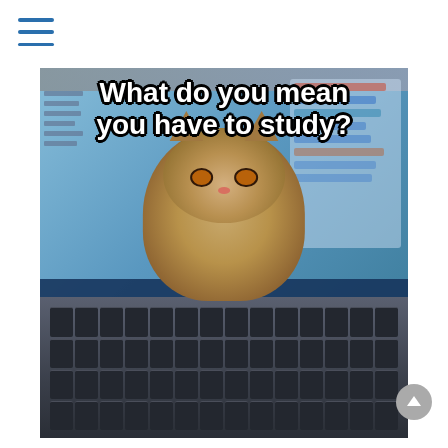[Figure (photo): Meme image: A small kitten standing on a laptop keyboard, with a computer monitor in the background displaying the text 'What do you mean you have to study?' in bold white font with black outline. The kitten has large amber eyes and fluffy grey-brown fur.]